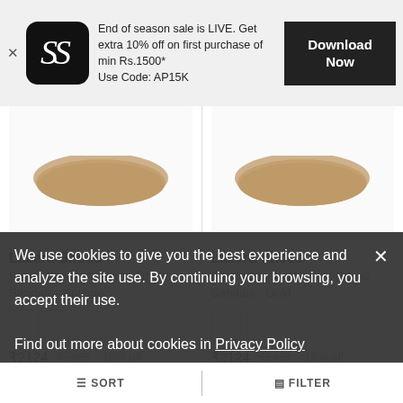End of season sale is LIVE. Get extra 10% off on first purchase of min Rs.1500*
Use Code: AP15K
Download Now
[Figure (photo): Partial top view of a beige/brown fabric slipon sandal against white background (left product)]
[Figure (photo): Partial top view of a beige/brown fabric slipon sandal against white background (right product)]
Lazera Shoes
Fabric Slipon Womens Ethnic Sandals - Antique
₹2124 ₹2499 15% off
Lazera Shoes
Fabric Slipon Womens Ethnic Sandals - Gold
₹2124 ₹2499 15% off
We use cookies to give you the best experience and analyze the site use. By continuing your browsing, you accept their use.
Find out more about cookies in Privacy Policy